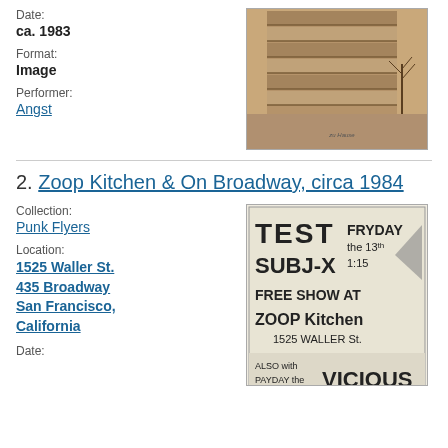Date:
ca. 1983
Format:
Image
Performer:
Angst
[Figure (photo): Sepia-toned photograph of a multi-story building exterior with balconies and a bare tree. Caption reads 'zu Hause'.]
2. Zoop Kitchen & On Broadway, circa 1984
Collection:
Punk Flyers
Location:
1525 Waller St.
435 Broadway
San Francisco, California
Date:
[Figure (photo): Hand-drawn punk flyer reading: TEST SUBJ-X FRYDAY the 13th 1:15 FREE SHOW AT ZOOP Kitchen 1525 WALLER St. ALSO WITH PAYDAY THE VICIOUS]